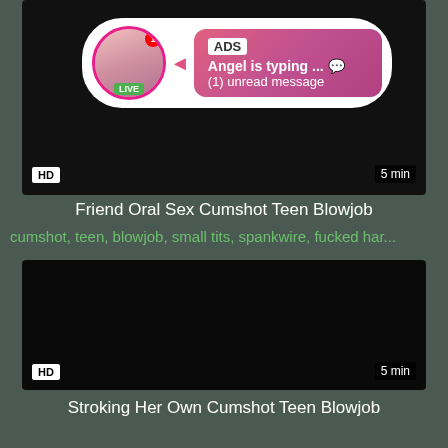[Figure (screenshot): Video thumbnail with ad overlay showing avatar, LIVE badge, ADS label, typing notification bubble with text 'Angel is typing ... 💬 (1) unread message', HD badge, and 5 min duration]
Friend Oral Sex Cumshot Teen Blowjob
cumshot, teen, blowjob, small tits, spankwire, fucked har...
[Figure (screenshot): Dark/black video thumbnail with HD badge and 5 min duration]
Stroking Her Own Cumshot Teen Blowjob